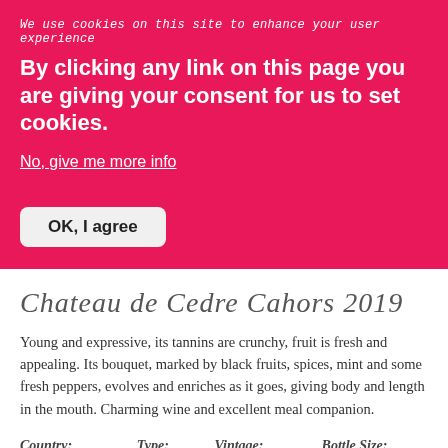We use cookies on this site to enhance your user experience
By clicking any link on this page you are giving your consent for us to set cookies.
No, give me more info
OK, I agree
Chateau de Cedre Cahors 2019
Young and expressive, its tannins are crunchy, fruit is fresh and appealing. Its bouquet, marked by black fruits, spices, mint and some fresh peppers, evolves and enriches as it goes, giving body and length in the mouth. Charming wine and excellent meal companion.
| Country: | Type: | Vintage: | Bottle Size: |
| --- | --- | --- | --- |
| France | Red | 2019 | 75cl |